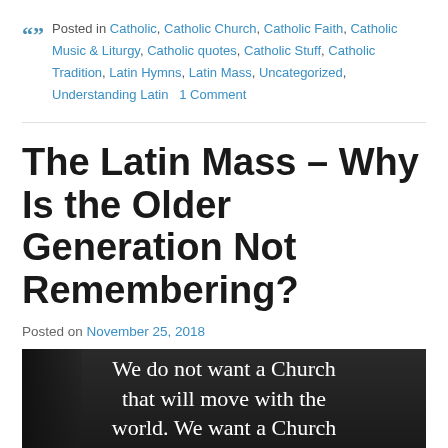" Posted in Catholic, Catholic Church, Catholic Faith, Catholic Music & Liturgy, Catholic quotes, Catholic Stuff, Catholic Tradition, Latin Hymns, Latin Mass, Uncategorized, Understanding Latin   1 Comment
The Latin Mass – Why Is the Older Generation Not Remembering?
Posted on November 25, 2018
[Figure (photo): Black and white photo with white serif text overlay reading: 'We do not want a Church that will move with the world. We want a Church']